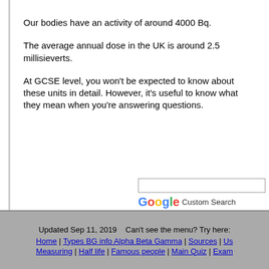Our bodies have an activity of around 4000 Bq.
The average annual dose in the UK is around 2.5 millisieverts.
At GCSE level, you won't be expected to know about these units in detail. However, it's useful to know what they mean when you're answering questions.
[Figure (other): Google Custom Search box with Google logo and 'Custom Search' label]
Updated Sep 11, 2019    Can't see the menu? Try here:
Home | Types BG info Alpha Beta Gamma | Sources | Us...
Measuring | Half life | Famous people | Main Quiz | Exam...